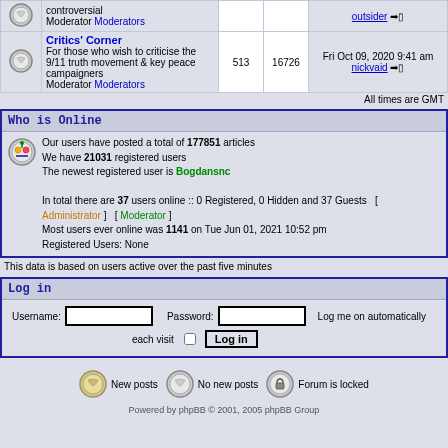|  | Forum | Topics | Posts | Last Post |
| --- | --- | --- | --- | --- |
| [icon] | controversial
Moderator Moderators | ... | ... | outsider → |
| [icon] | Critics' Corner
For those who wish to criticise the 9/11 truth movement & key peace campaigners
Moderator Moderators | 513 | 16726 | Fri Oct 09, 2020 9:41 am
nickvaid → |
All times are GMT
Who is Online
Our users have posted a total of 177851 articles
We have 21031 registered users
The newest registered user is Bogdansnc
In total there are 37 users online :: 0 Registered, 0 Hidden and 37 Guests  [ Administrator ]  [ Moderator ]
Most users ever online was 1141 on Tue Jun 01, 2021 10:52 pm
Registered Users: None
This data is based on users active over the past five minutes
Log in
Username: [input] Password: [input] Log me on automatically each visit [checkbox] Log in
[Figure (illustration): Forum legend: New posts icon, No new posts icon, Forum is locked icon with labels]
Powered by phpBB © 2001, 2005 phpBB Group